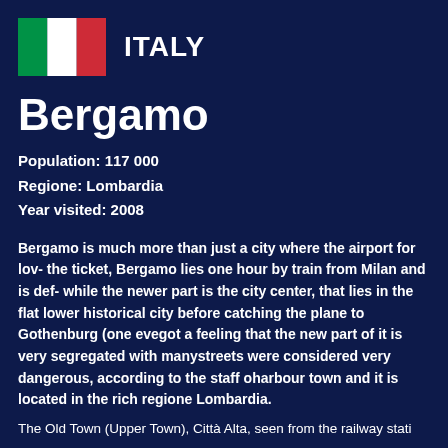[Figure (illustration): Italian flag (tricolor: green, white, red vertical stripes) followed by the word ITALY in bold white text]
Bergamo
Population: 117 000
Regione: Lombardia
Year visited: 2008
Bergamo is much more than just a city where the airport for low-cost airlines is. Worth the ticket, Bergamo lies one hour by train from Milan and is definitely worth a visit. The old part, while the newer part is the city center, that lies in the flat lower part. We spent a day in the historical city before catching the plane to Gothenburg (one evening and one morning), and we got a feeling that the new part of it is very segregated with many immigrants. Certain streets were considered very dangerous, according to the staff of our hotel. It's not a harbour town and it is located in the rich regione Lombardia.
The Old Town (Upper Town), Città Alta, seen from the railway stati...
Città bassa (new town):